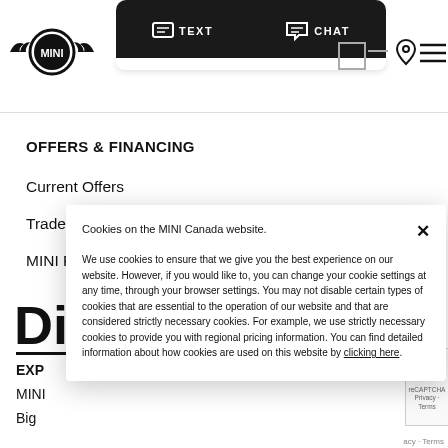[Figure (screenshot): MINI website header with navigation bar, MINI logo (wings and circle), TEXT and CHAT buttons in dark popup, location pin icon, hamburger menu icon]
OFFERS & FINANCING
Current Offers
Trade-in Request
MINI Financial Services
DI
EXP
MINI
Big
Cookies on the MINI Canada website.

We use cookies to ensure that we give you the best experience on our website. However, if you would like to, you can change your cookie settings at any time, through your browser settings. You may not disable certain types of cookies that are essential to the operation of our website and that are considered strictly necessary cookies. For example, we use strictly necessary cookies to provide you with regional pricing information. You can find detailed information about how cookies are used on this website by clicking here.
acy · Terms